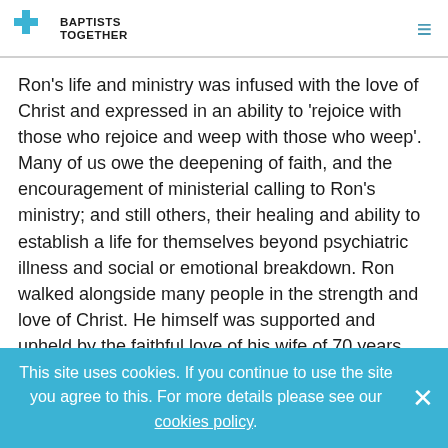BAPTISTS TOGETHER
Ron's life and ministry was infused with the love of Christ and expressed in an ability to 'rejoice with those who rejoice and weep with those who weep'. Many of us owe the deepening of faith, and the encouragement of ministerial calling to Ron's ministry; and still others, their healing and ability to establish a life for themselves beyond psychiatric illness and social or emotional breakdown. Ron walked alongside many people in the strength and love of Christ. He himself was supported and upheld by the faithful love of his wife of 70 years, Xenia, and their five sons and their wives, grandchildren and great-grandchildren.
This site uses cookies. If you continue to use the site you agree to this. For more details please see our cookies policy.